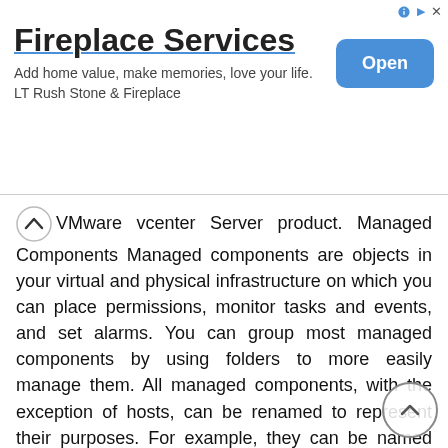[Figure (other): Advertisement banner for Fireplace Services by LT Rush Stone & Fireplace with an Open button]
VMware vcenter Server product. Managed Components Managed components are objects in your virtual and physical infrastructure on which you can place permissions, monitor tasks and events, and set alarms. You can group most managed components by using folders to more easily manage them. All managed components, with the exception of hosts, can be renamed to represent their purposes. For example, they can be named after company departments or locations or functions. vcenter Server monitors and manages the following components of your virtual and physical infrastructure: Clusters Datacenters A collection of ESX/ESXi hosts and associated virtual machines intended to work together as a unit. When you add a host to a cluster, the host s resources become part of the cluster s resources. The cluster manages the resources of all hosts. If you enable VMware DRS on a cluster, the resources of the hosts in the cluster are merged to allow resource